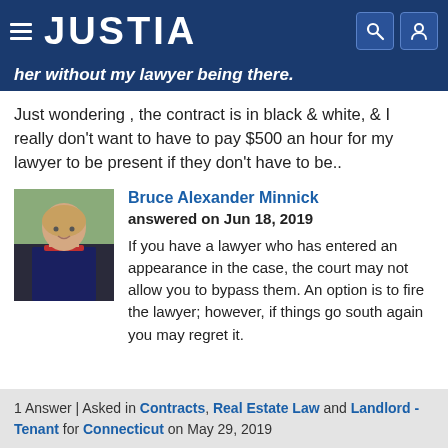JUSTIA
her without my lawyer being there.
Just wondering , the contract is in black & white, & I really don't want to have to pay $500 an hour for my lawyer to be present if they don't have to be..
Bruce Alexander Minnick
answered on Jun 18, 2019
If you have a lawyer who has entered an appearance in the case, the court may not allow you to bypass them. An option is to fire the lawyer; however, if things go south again you may regret it.
1 Answer | Asked in Contracts, Real Estate Law and Landlord - Tenant for Connecticut on May 29, 2019